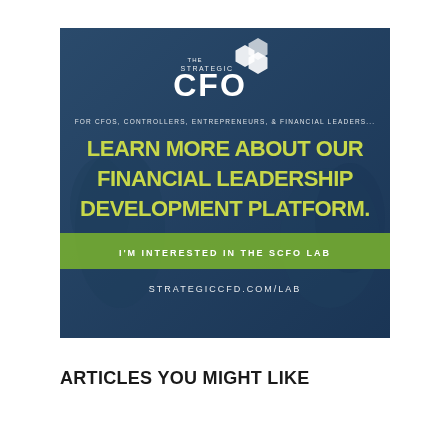[Figure (infographic): The Strategic CFO advertisement banner with dark blue background, hexagonal logo, yellow-green bold text reading 'LEARN MORE ABOUT OUR FINANCIAL LEADERSHIP DEVELOPMENT PLATFORM.', a green bar with 'I'M INTERESTED IN THE SCFO LAB', and URL 'STRATEGICCFD.COM/LAB']
ARTICLES YOU MIGHT LIKE